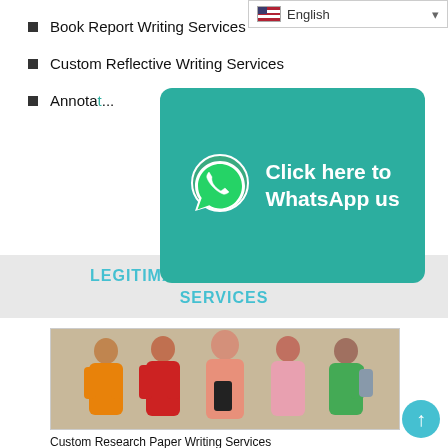English
Book Report Writing Services
Custom Reflective Writing Services
Annotated...
[Figure (infographic): WhatsApp banner with teal background: 'Click here to WhatsApp us' with WhatsApp logo]
LEGITIMATE CUSTOM WRITING SERVICES
[Figure (photo): Five students posing together, one female in center holding books]
Custom Research Paper Writing Services